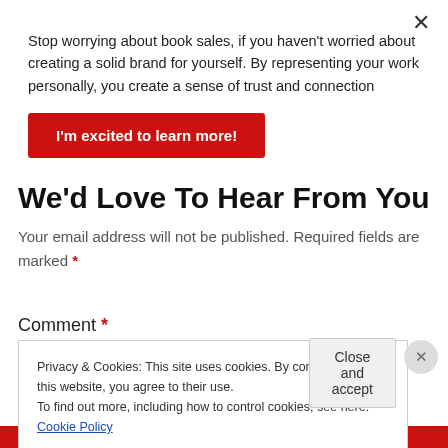Stop worrying about book sales, if you haven't worried about creating a solid brand for yourself. By representing your work personally, you create a sense of trust and connection
I'm excited to learn more!
We'd Love To Hear From You
Your email address will not be published. Required fields are marked *
Comment *
Privacy & Cookies: This site uses cookies. By continuing to use this website, you agree to their use.
To find out more, including how to control cookies, see here: Cookie Policy
Close and accept